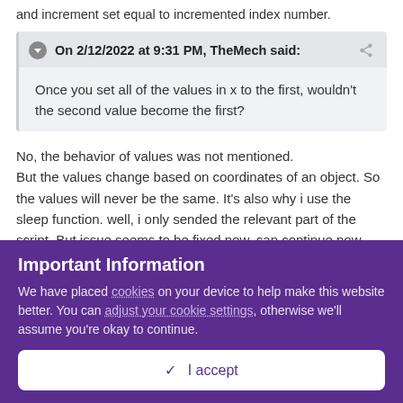and increment set equal to incremented index number.
On 2/12/2022 at 9:31 PM, TheMech said: Once you set all of the values in x to the first, wouldn't the second value become the first?
No, the behavior of values was not mentioned.
But the values change based on coordinates of an object. So the values will never be the same. It's also why i use the sleep function. well, i only sended the relevant part of the script. But issue seems to be fixed now. can continue now.
Important Information
We have placed cookies on your device to help make this website better. You can adjust your cookie settings, otherwise we'll assume you're okay to continue.
✓  I accept